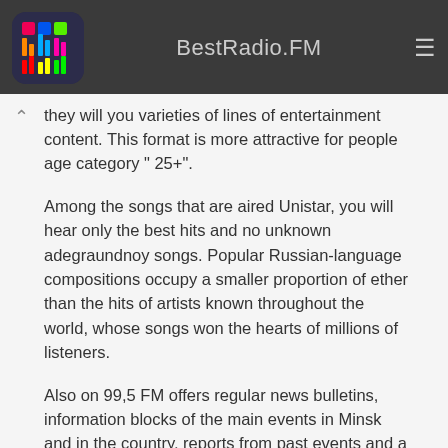BestRadio.FM
they will you varieties of lines of entertainment content. This format is more attractive for people age category " 25+".
Among the songs that are aired Unistar, you will hear only the best hits and no unknown adegraundnoy songs. Popular Russian-language compositions occupy a smaller proportion of ether than the hits of artists known throughout the world, whose songs won the hearts of millions of listeners.
Also on 99,5 FM offers regular news bulletins, information blocks of the main events in Minsk and in the country, reports from past events and a lot of other information, which you will keep up with the active modern humanity.
As we mentioned above, part of the airtime given Unistar entertainment content, which involves regular issues a variety of programs, talk shows, competitions and much more. Among the most popular " razvlekalovok " stations are transmitting "Bonia and Anton", "Morning in the City", "Office of the day", "Lunch with Nicholas Bogumilchikom", "History of Famous jewelry", "Shaw music lovers", "5 musical styles on